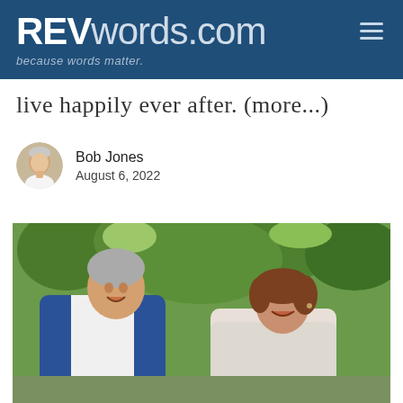REVwords.com — because words matter.
live happily ever after. (more...)
Bob Jones
August 6, 2022
[Figure (photo): A man in a blue blazer and a woman in a white jacket laughing together outdoors with green trees in the background.]